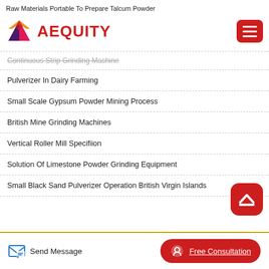Raw Materials Portable To Prepare Talcum Powder
[Figure (logo): Aequity logo with colorful diamond/chevron icon and red AEQUITY text, plus red hamburger menu button]
Continuous Strip Grinding Machine
Pulverizer In Dairy Farming
Small Scale Gypsum Powder Mining Process
British Mine Grinding Machines
Vertical Roller Mill Specifiion
Solution Of Limestone Powder Grinding Equipment
Small Black Sand Pulverizer Operation British Virgin Islands
Send Message | Free Consultation